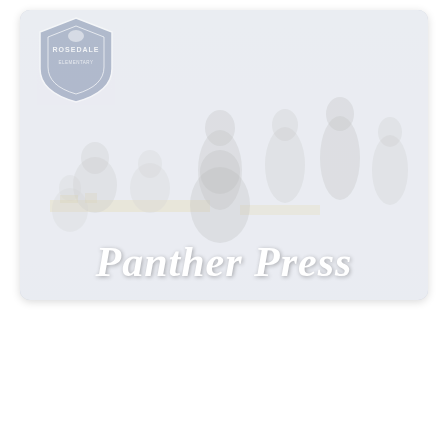[Figure (photo): A faded/washed-out school newsletter cover image showing a group of people (students and staff) in what appears to be a cafeteria or classroom setting. A Rosedale school shield logo is visible in the upper-left corner. The text 'Panther Press' is displayed in large white bold serif font overlaid at the bottom of the image. The entire card has rounded corners.]